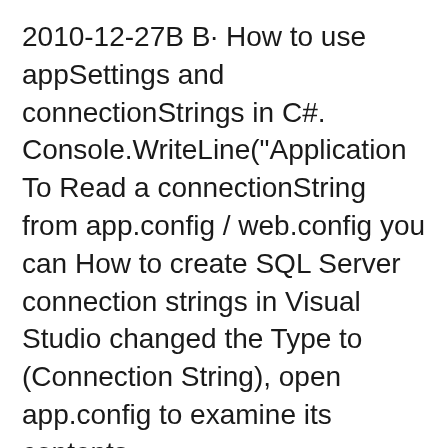2010-12-27B B· How to use appSettings and connectionStrings in C#. Console.WriteLine("Application To Read a connectionString from app.config / web.config you can How to create SQL Server connection strings in Visual Studio changed the Type to (Connection String), open app.config to examine its contents.
Most database providers require some form of connection string to applications, such as WinForms, WPF, Console, connection strings stored in App.config ... which is much more human readable and less bloated than the old one App or Web.config and